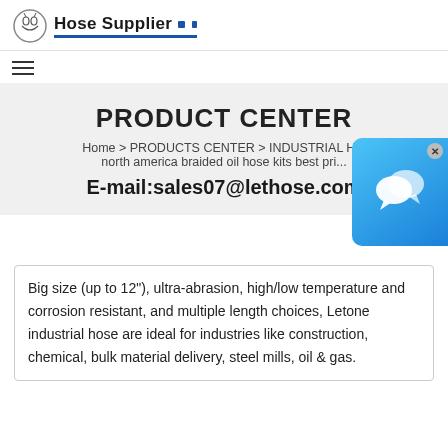Hose Supplier
PRODUCT CENTER
Home > PRODUCTS CENTER > INDUSTRIAL H... north america braided oil hose kits best pri...
E-mail:sales07@lethose.com
Big size (up to 12"), ultra-abrasion, high/low temperature and corrosion resistant, and multiple length choices, Letone industrial hose are ideal for industries like construction, chemical, bulk material delivery, steel mills, oil & gas.